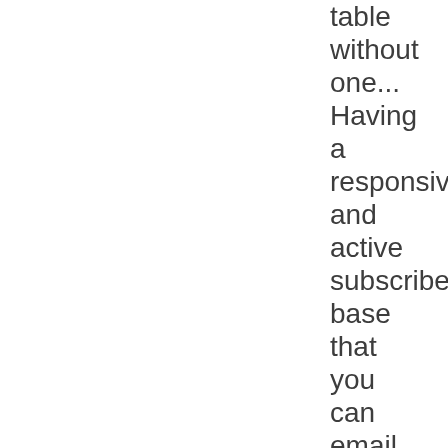table without one... Having a responsive and active subscriber base that you can email ANY TIME you want,